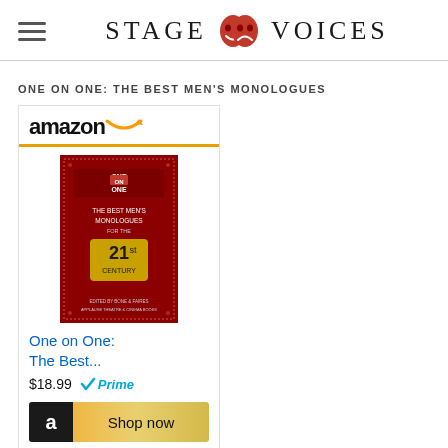STAGE VOICES
ONE ON ONE: THE BEST MEN'S MONOLOGUES
[Figure (other): Amazon widget showing book 'One on One: The Best Men's Monologues for the 21st Century' priced at $18.99 with Prime, and a Shop now button]
ONE ON ONE: THE BEST WOMEN'S MONOLOGUES